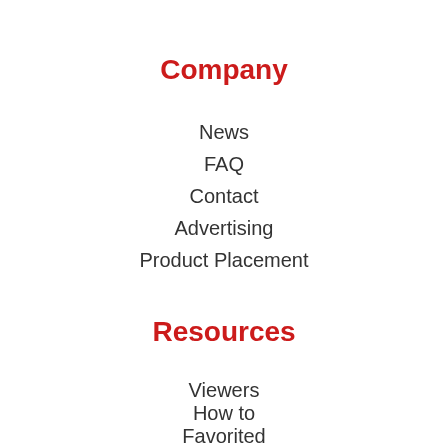Company
News
FAQ
Contact
Advertising
Product Placement
Resources
Viewers
How to
Favorited
Pantry
Shop